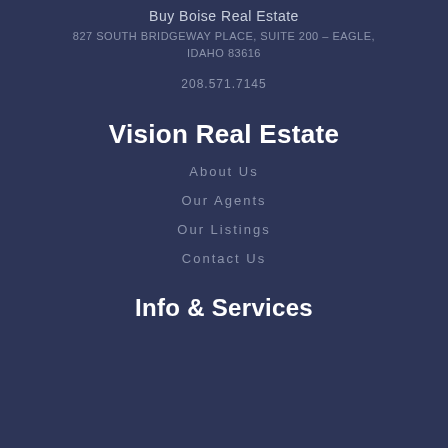Buy Boise Real Estate
827 SOUTH BRIDGEWAY PLACE, SUITE 200 – EAGLE, IDAHO 83616
208.571.7145
Vision Real Estate
About Us
Our Agents
Our Listings
Contact Us
Info & Services